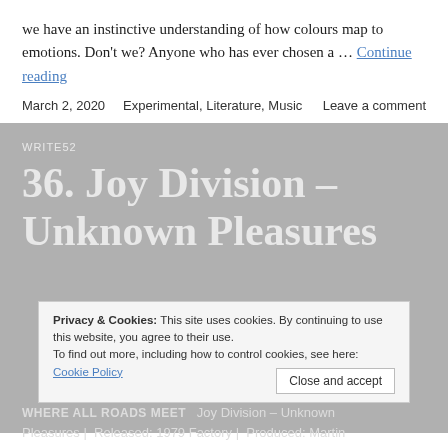we have an instinctive understanding of how colours map to emotions. Don't we? Anyone who has ever chosen a … Continue reading
March 2, 2020   Experimental, Literature, Music   Leave a comment
WRITE52
36. Joy Division – Unknown Pleasures
Privacy & Cookies: This site uses cookies. By continuing to use this website, you agree to their use. To find out more, including how to control cookies, see here: Cookie Policy Close and accept
WHERE ALL ROADS MEET   Joy Division – Unknown Pleasures |  Released: 1979 Factory |  Produced: Martin Hannett |  Genre: The post-punk sound that launched a thousand t-shirts |  WORDS ARE BRILLIANT...  Joy